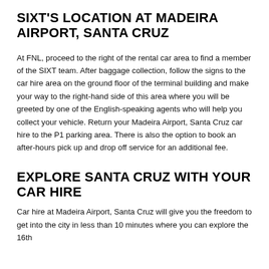SIXT'S LOCATION AT MADEIRA AIRPORT, SANTA CRUZ
At FNL, proceed to the right of the rental car area to find a member of the SIXT team. After baggage collection, follow the signs to the car hire area on the ground floor of the terminal building and make your way to the right-hand side of this area where you will be greeted by one of the English-speaking agents who will help you collect your vehicle. Return your Madeira Airport, Santa Cruz car hire to the P1 parking area. There is also the option to book an after-hours pick up and drop off service for an additional fee.
EXPLORE SANTA CRUZ WITH YOUR CAR HIRE
Car hire at Madeira Airport, Santa Cruz will give you the freedom to get into the city in less than 10 minutes where you can explore the 16th